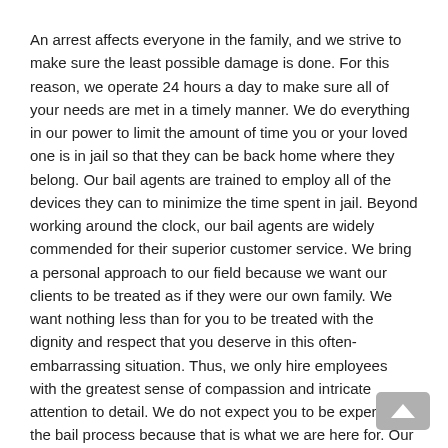An arrest affects everyone in the family, and we strive to make sure the least possible damage is done. For this reason, we operate 24 hours a day to make sure all of your needs are met in a timely manner. We do everything in our power to limit the amount of time you or your loved one is in jail so that they can be back home where they belong. Our bail agents are trained to employ all of the devices they can to minimize the time spent in jail. Beyond working around the clock, our bail agents are widely commended for their superior customer service. We bring a personal approach to our field because we want our clients to be treated as if they were our own family. We want nothing less than for you to be treated with the dignity and respect that you deserve in this often-embarrassing situation. Thus, we only hire employees with the greatest sense of compassion and intricate attention to detail. We do not expect you to be experts in the bail process because that is what we are here for. Our expertise and efficacy make us confident that we will offer you the best care and service in the business.
We Are Skilled